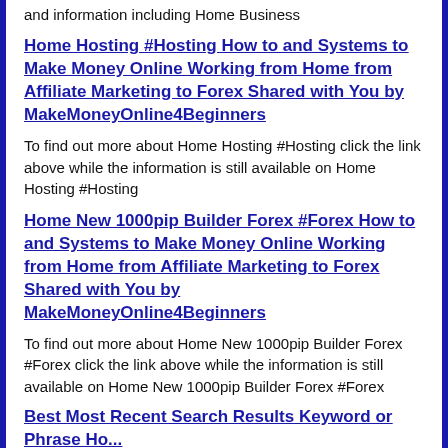and information including Home Business
Home Hosting #Hosting How to and Systems to Make Money Online Working from Home from Affiliate Marketing to Forex Shared with You by MakeMoneyOnline4Beginners
To find out more about Home Hosting #Hosting click the link above while the information is still available on Home Hosting #Hosting
Home New 1000pip Builder Forex #Forex How to and Systems to Make Money Online Working from Home from Affiliate Marketing to Forex Shared with You by MakeMoneyOnline4Beginners
To find out more about Home New 1000pip Builder Forex #Forex click the link above while the information is still available on Home New 1000pip Builder Forex #Forex
Best Most Recent Search Results Keyword or Phrase Ho...